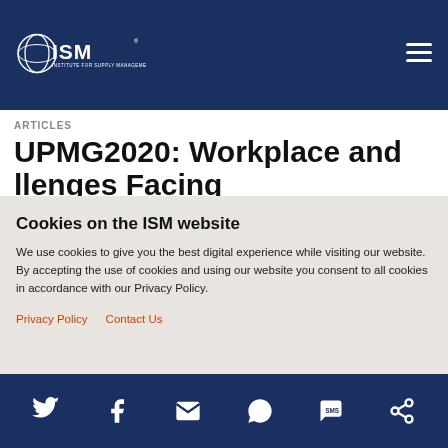[Figure (logo): ISM Institute for Supply Management logo on dark navy header bar]
ARTICLES
UPMG2020: Workplace and Challenges Facing
Privacy and Cookies
Cookies on the ISM website
We use cookies to give you the best digital experience while visiting our website. By accepting the use of cookies and using our website you consent to all cookies in accordance with our Privacy Policy.
Privacy Policy
Contact Us
[Figure (infographic): Social sharing icons bar at bottom: Twitter, Facebook, Email, WhatsApp, SMS, other icon — white icons on dark navy background]